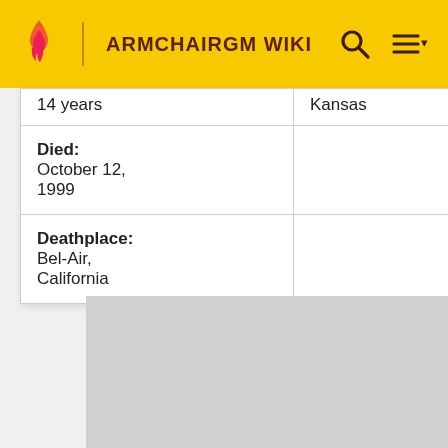ARMCHAIRGM WIKI
| 14 years | Kansas |
| Died:
October 12, 1999 |  |
| Deathplace:
Bel-Air, California |  |
[Figure (photo): Gray placeholder image area below the table]